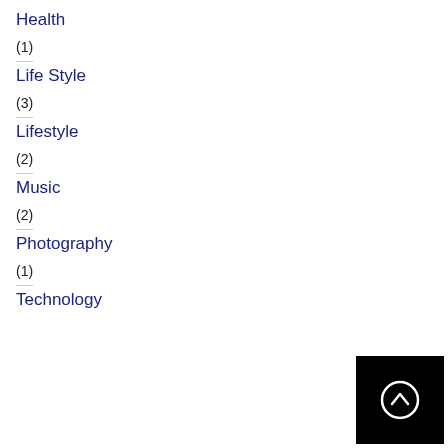Health
(1)
Life Style
(3)
Lifestyle
(2)
Music
(2)
Photography
(1)
Technology